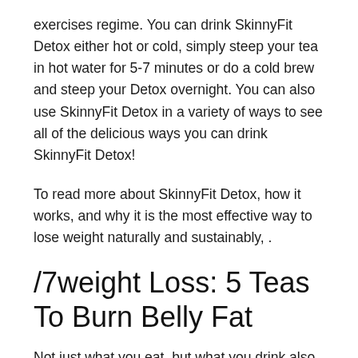exercises regime. You can drink SkinnyFit Detox either hot or cold, simply steep your tea in hot water for 5-7 minutes or do a cold brew and steep your Detox overnight. You can also use SkinnyFit Detox in a variety of ways to see all of the delicious ways you can drink SkinnyFit Detox!
To read more about SkinnyFit Detox, how it works, and why it is the most effective way to lose weight naturally and sustainably, .
/7weight Loss: 5 Teas To Burn Belly Fat
Not just what you eat, but what you drink also makes a huge difference to your weight loss journey. And talking about drinks, did you know one simple beverage, which is right there in your kitchen, can do wonders for your weight loss